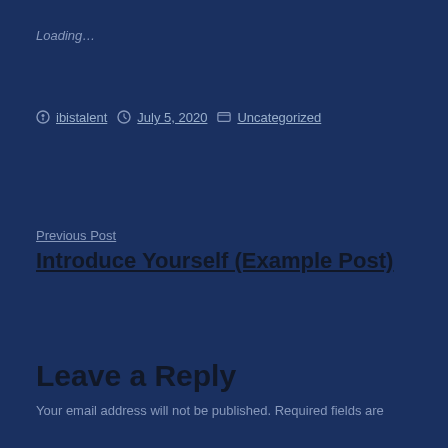Loading…
ibistalent   July 5, 2020   Uncategorized
Previous Post
Introduce Yourself (Example Post)
Leave a Reply
Your email address will not be published. Required fields are